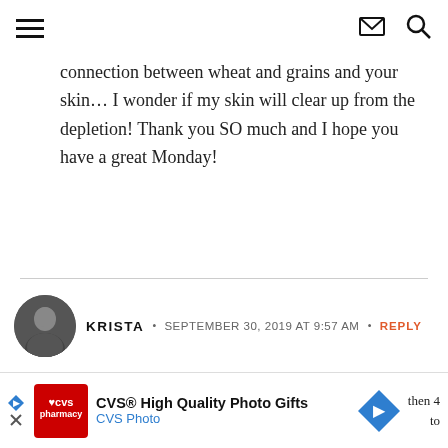[hamburger menu] [envelope icon] [search icon]
connection between wheat and grains and your skin… I wonder if my skin will clear up from the depletion! Thank you SO much and I hope you have a great Monday!
KRISTA • SEPTEMBER 30, 2019 AT 9:57 AM • REPLY
interesting! I've never heard of carb depletion. Interested to hear what you think. I'm also curious
[Figure (infographic): CVS advertisement bar: CVS High Quality Photo Gifts - CVS Photo, with CVS logo and blue direction arrow icon]
then 4
to